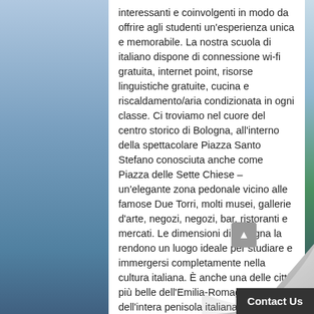interessanti e coinvolgenti in modo da offrire agli studenti un'esperienza unica e memorabile. La nostra scuola di italiano dispone di connessione wi-fi gratuita, internet point, risorse linguistiche gratuite, cucina e riscaldamento/aria condizionata in ogni classe. Ci troviamo nel cuore del centro storico di Bologna, all'interno della spettacolare Piazza Santo Stefano conosciuta anche come Piazza delle Sette Chiese – un'elegante zona pedonale vicino alle famose Due Torri, molti musei, gallerie d'arte, negozi, negozi, bar, ristoranti e mercati. Le dimensioni di Bologna la rendono un luogo ideale per studiare e immergersi completamente nella cultura italiana. È anche una delle città più belle dell'Emilia-Romagna e dell'intera penisola italiana. Conosciuta in tutta Italia e nel mondo come la Dotta per aver ospitato l'università antica del mondo, la Grassa per la sua sorprendente tradizione culinaria e la Ro
Contact Us